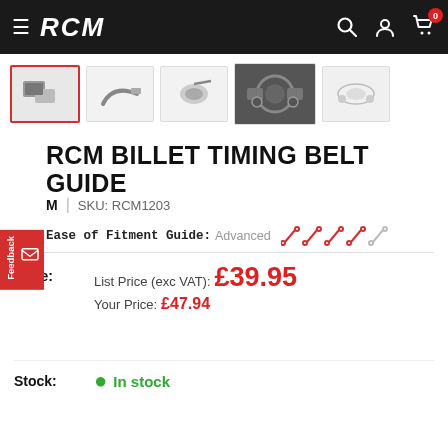RCM — navigation header with logo, search, account, cart (0)
[Figure (photo): Five product thumbnail images showing RCM Billet Timing Belt Guide from different angles; first thumbnail is selected with red border]
RCM BILLET TIMING BELT GUIDE
RCM | SKU: RCM1203
Ease of Fitment Guide: Advanced [wrench icons — 4 red, 1 grey]
Price: List Price (exc VAT): £39.95  Your Price: £47.94
Stock: • In stock